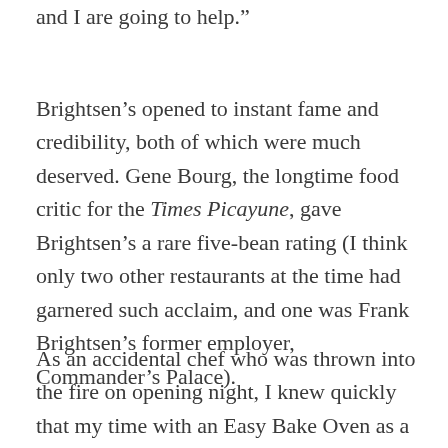and I are going to help.”
Brightsen’s opened to instant fame and credibility, both of which were much deserved. Gene Bourg, the longtime food critic for the Times Picayune, gave Brightsen’s a rare five-bean rating (I think only two other restaurants at the time had garnered such acclaim, and one was Frank Brightsen’s former employer, Commander’s Palace).
As an accidental chef who was thrown into the fire on opening night, I knew quickly that my time with an Easy Bake Oven as a six-year old